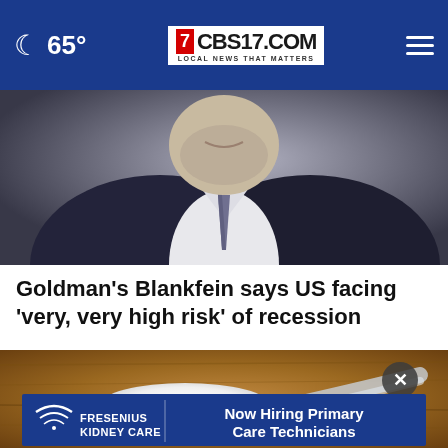65° CBS17.COM LOCAL NEWS THAT MATTERS
[Figure (photo): Close-up photo of a man in a suit with a tie, cropped to show chin, neck, and upper chest area]
Goldman's Blankfein says US facing 'very, very high risk' of recession
[Figure (photo): Photo of a plastic measuring scoop filled with white powder sitting on a wooden surface, with an advertisement banner overlay from Fresenius Kidney Care reading 'Now Hiring Primary Care Technicians']